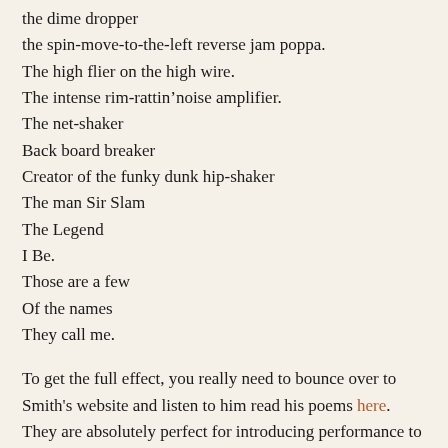the dime dropper
the spin-move-to-the-left reverse jam poppa.
The high flier on the high wire.
The intense rim-rattin’noise amplifier.
The net-shaker
Back board breaker
Creator of the funky dunk hip-shaker
The man Sir Slam
The Legend
I Be.
Those are a few
Of the names
They call me.
To get the full effect, you really need to bounce over to Smith's website and listen to him read his poems here.  They are absolutely perfect for introducing performance to your sports lovers!